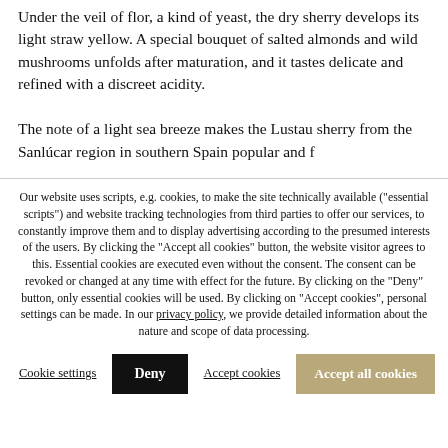Under the veil of flor, a kind of yeast, the dry sherry develops its light straw yellow. A special bouquet of salted almonds and wild mushrooms unfolds after maturation, and it tastes delicate and refined with a discreet acidity.

The note of a light sea breeze makes the Lustau sherry from the Sanlúcar region in southern Spain popular and [continues cut off]
Our website uses scripts, e.g. cookies, to make the site technically available ("essential scripts") and website tracking technologies from third parties to offer our services, to constantly improve them and to display advertising according to the presumed interests of the users. By clicking the "Accept all cookies" button, the website visitor agrees to this. Essential cookies are executed even without the consent. The consent can be revoked or changed at any time with effect for the future. By clicking on the "Deny" button, only essential cookies will be used. By clicking on "Accept cookies", personal settings can be made. In our privacy policy, we provide detailed information about the nature and scope of data processing.